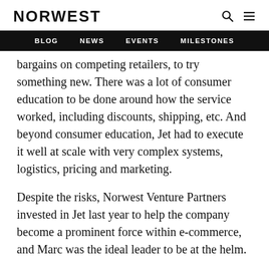NORWEST
BLOG  NEWS  EVENTS  MILESTONES
bargains on competing retailers, to try something new. There was a lot of consumer education to be done around how the service worked, including discounts, shipping, etc. And beyond consumer education, Jet had to execute it well at scale with very complex systems, logistics, pricing and marketing.
Despite the risks, Norwest Venture Partners invested in Jet last year to help the company become a prominent force within e-commerce, and Marc was the ideal leader to be at the helm.
There were several reasons why the deal was compelling at the time. Two leading reasons were: